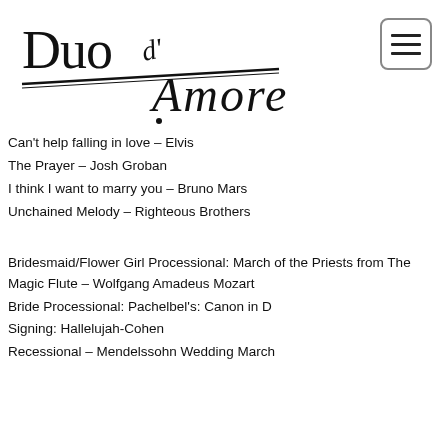[Figure (logo): Duo d'Amore logo with stylized script and bow/violin graphic]
Can't help falling in love – Elvis
The Prayer – Josh Groban
I think I want to marry you – Bruno Mars
Unchained Melody – Righteous Brothers
Bridesmaid/Flower Girl Processional: March of the Priests from The Magic Flute – Wolfgang Amadeus Mozart
Bride Processional: Pachelbel's: Canon in D
Signing: Hallelujah-Cohen
Recessional – Mendelssohn Wedding March